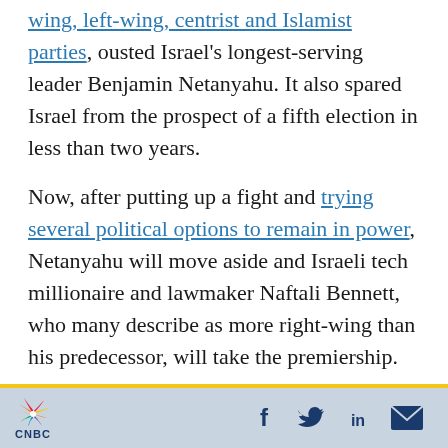wing, left-wing, centrist and Islamist parties, ousted Israel's longest-serving leader Benjamin Netanyahu. It also spared Israel from the prospect of a fifth election in less than two years.
Now, after putting up a fight and trying several political options to remain in power, Netanyahu will move aside and Israeli tech millionaire and lawmaker Naftali Bennett, who many describe as more right-wing than his predecessor, will take the premiership.
Sunday's Knesset vote was marred by chaos and jeering, as some right-wing lawmakers including
CNBC | social icons: Facebook, Twitter, LinkedIn, Email